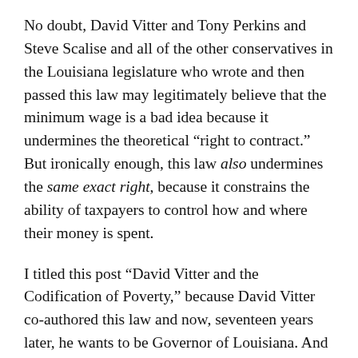No doubt, David Vitter and Tony Perkins and Steve Scalise and all of the other conservatives in the Louisiana legislature who wrote and then passed this law may legitimately believe that the minimum wage is a bad idea because it undermines the theoretical “right to contract.” But ironically enough, this law also undermines the same exact right, because it constrains the ability of taxpayers to control how and where their money is spent.
I titled this post “David Vitter and the Codification of Poverty,” because David Vitter co-authored this law and now, seventeen years later, he wants to be Governor of Louisiana. And because laws that prohibit taxpayers from guaranteeing their dollars are spent wisely and responsibly, laws that enrich private-